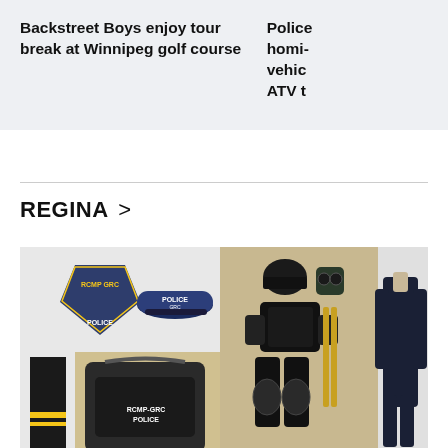Backstreet Boys enjoy tour break at Winnipeg golf course
Police homi- vehic ATV t
REGINA >
[Figure (photo): RCMP police gear including uniform patches, police cap, riot gear/body armor laid out, and a full navy coverall uniform. Also includes high-visibility pants and a large black duffel bag labeled RCMP-GRC POLICE.]